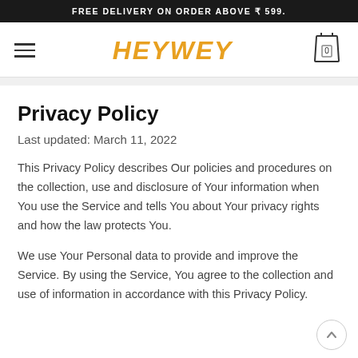FREE DELIVERY ON ORDER ABOVE ₹ 599.
[Figure (logo): Heywey e-commerce website navigation bar with hamburger menu, HEYWEY logo in orange italic text, and a shopping cart icon showing 0 items]
Privacy Policy
Last updated: March 11, 2022
This Privacy Policy describes Our policies and procedures on the collection, use and disclosure of Your information when You use the Service and tells You about Your privacy rights and how the law protects You.
We use Your Personal data to provide and improve the Service. By using the Service, You agree to the collection and use of information in accordance with this Privacy Policy.